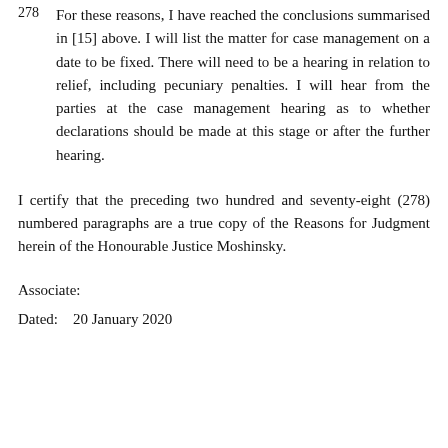278   For these reasons, I have reached the conclusions summarised in [15] above. I will list the matter for case management on a date to be fixed. There will need to be a hearing in relation to relief, including pecuniary penalties. I will hear from the parties at the case management hearing as to whether declarations should be made at this stage or after the further hearing.
I certify that the preceding two hundred and seventy-eight (278) numbered paragraphs are a true copy of the Reasons for Judgment herein of the Honourable Justice Moshinsky.
Associate:
Dated:    20 January 2020